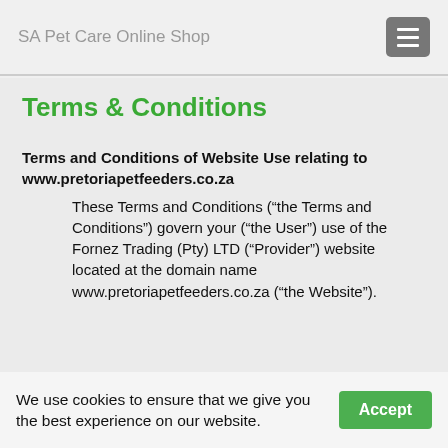SA Pet Care Online Shop
Terms & Conditions
Terms and Conditions of Website Use relating to www.pretoriapetfeeders.co.za
These Terms and Conditions (“the Terms and Conditions”) govern your (“the User”) use of the Fornez Trading (Pty) LTD (“Provider”) website located at the domain name www.pretoriapetfeeders.co.za (“the Website”).
We use cookies to ensure that we give you the best experience on our website. Accept